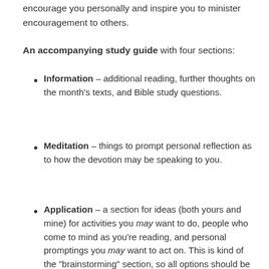encourage you personally and inspire you to minister encouragement to others.
An accompanying study guide with four sections:
Information – additional reading, further thoughts on the month's texts, and Bible study questions.
Meditation – things to prompt personal reflection as to how the devotion may be speaking to you.
Application – a section for ideas (both yours and mine) for activities you may want to do, people who come to mind as you're reading, and personal promptings you may want to act on. This is kind of the "brainstorming" section, so all options should be considered.